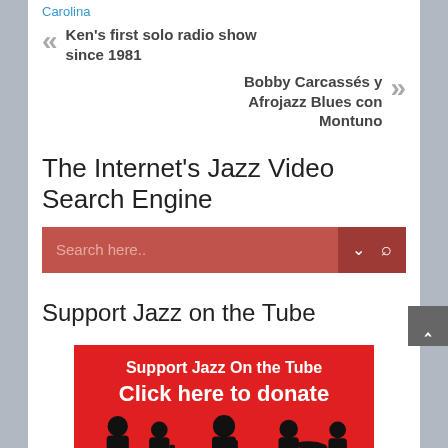Carolina
« Ken's first solo radio show since 1981
Bobby Carcassés y Afrojazz Blues con Montuno »
The Internet's Jazz Video Search Engine
[Figure (screenshot): Search bar with red background, placeholder text 'Search here..', dropdown arrow and magnifying glass icon]
Support Jazz on the Tube
[Figure (illustration): Red donation banner reading 'Support Jazz On the Tube' and 'Click here to donate' with silhouettes of jazz musicians at bottom]